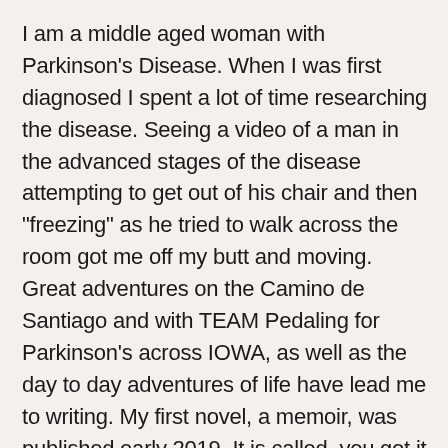I am a middle aged woman with Parkinson's Disease. When I was first diagnosed I spent a lot of time researching the disease. Seeing a video of a man in the advanced stages of the disease attempting to get out of his chair and then "freezing" as he tried to walk across the room got me off my butt and moving. Great adventures on the Camino de Santiago and with TEAM Pedaling for Parkinson's across IOWA, as well as the day to day adventures of life have lead me to writing. My first novel, a memoir, was published early 2019. It is called, you got it THE RIBBON OF ROAD AHEAD. Living with the degenerative neurological disease Parkinson's, ULTREIA is a word that guides me. I have chosen it as the name of my business ULTREIA BOOKS. It comes from Latin and old French and